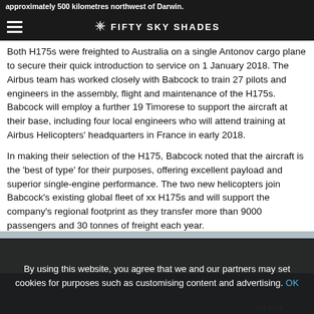approximately 500 kilometres northwest of Darwin. FIFTY SKY SHADES
Both H175s were freighted to Australia on a single Antonov cargo plane to secure their quick introduction to service on 1 January 2018. The Airbus team has worked closely with Babcock to train 27 pilots and engineers in the assembly, flight and maintenance of the H175s. Babcock will employ a further 19 Timorese to support the aircraft at their base, including four local engineers who will attend training at Airbus Helicopters' headquarters in France in early 2018.
In making their selection of the H175, Babcock noted that the aircraft is the 'best of type' for their purposes, offering excellent payload and superior single-engine performance. The two new helicopters join Babcock's existing global fleet of xx H175s and will support the company's regional footprint as they transfer more than 9000 passengers and 30 tonnes of freight each year.
[Figure (photo): Helicopter photo with dark blue background and text VH-NYJ visible]
By using this website, you agree that we and our partners may set cookies for purposes such as customising content and advertising. OK